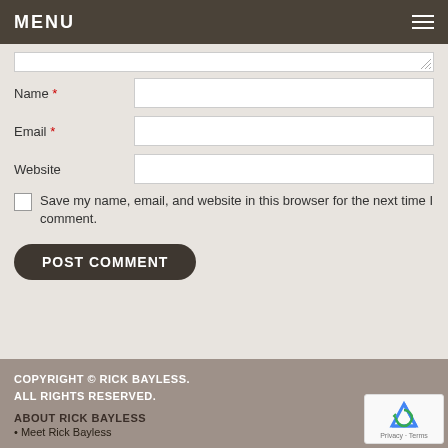MENU
Name *
Email *
Website
Save my name, email, and website in this browser for the next time I comment.
POST COMMENT
COPYRIGHT © RICK BAYLESS. ALL RIGHTS RESERVED.
ABOUT RICK BAYLESS
Meet Rick Bayless